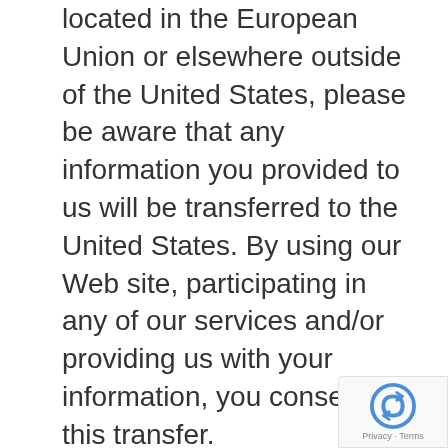located in the European Union or elsewhere outside of the United States, please be aware that any information you provided to us will be transferred to the United States. By using our Web site, participating in any of our services and/or providing us with your information, you consent to this transfer.
Update regarding General Data Protection Regulation (GDPR) compliance: we do not collect personally identifiable data in order to use the Web site. We use cookies from Google and WordPress, and their privacy statements can be reached at https://policies.google.com/privacy?hl=en&gl=us and https://wordpress.org/about/privacy/. For the database product, we require an email address and name, but do not collect other usage data other than collecting that information for the purpose of providing access to the